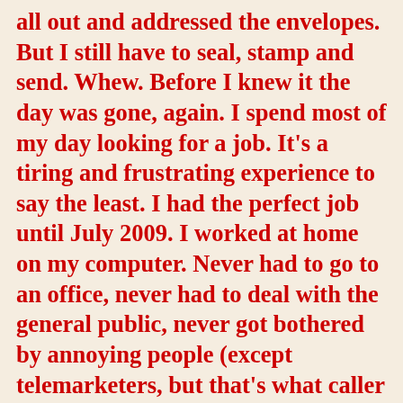all out and addressed the envelopes. But I still have to seal, stamp and send. Whew. Before I knew it the day was gone, again. I spend most of my day looking for a job. It's a tiring and frustrating experience to say the least. I had the perfect job until July 2009. I worked at home on my computer. Never had to go to an office, never had to deal with the general public, never got bothered by annoying people (except telemarketers, but that's what caller id is for). It was perfect. I set my own schedule and I loved it. But as we all know this economy is in the toilet. It effected my job and the company I worked for had to close. I